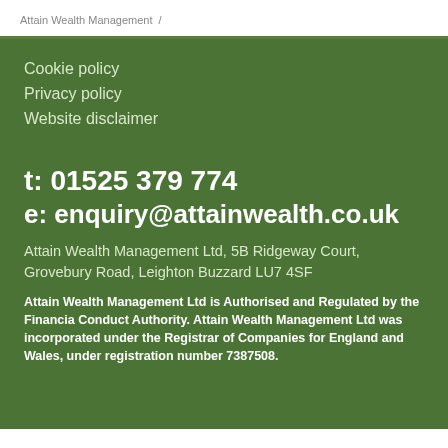Attain Wealth Management /
Cookie policy
Privacy policy
Website disclaimer
t: 01525 379 774
e: enquiry@attainwealth.co.uk
Attain Wealth Management Ltd, 5B Ridgeway Court, Grovebury Road, Leighton Buzzard LU7 4SF
Attain Wealth Management Ltd is Authorised and Regulated by the Financia Conduct Authority. Attain Wealth Management Ltd was incorporated under the Registrar of Companies for England and Wales, under registration number 7387508.